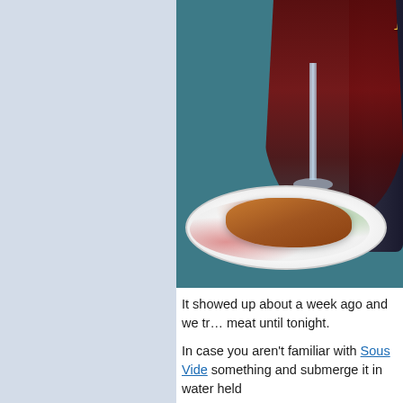[Figure (photo): A photo of a Leffe beer glass filled with dark beer, alongside a colorful plate with breaded/fried meat patties, set on a teal blue surface. A dark bottle is partially visible on the right side.]
It showed up about a week ago and we tried the meat until tonight.
In case you aren't familiar with Sous Vide something and submerge it in water held